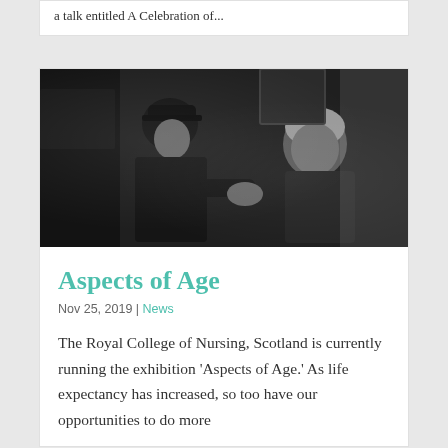a talk entitled A Celebration of...
[Figure (photo): Black and white photograph of a nurse in uniform and cap leaning toward an elderly woman seated in a chair, appearing to assist her in a home setting]
Aspects of Age
Nov 25, 2019 | News
The Royal College of Nursing, Scotland is currently running the exhibition 'Aspects of Age.' As life expectancy has increased, so too have our opportunities to do more